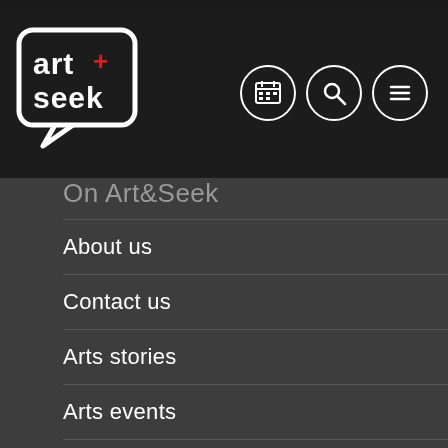[Figure (logo): Art+Seek logo — white speech bubble outline containing 'art+seek' text with a red plus symbol]
[Figure (infographic): Three circular icon buttons: calendar/grid icon, magnifying glass search icon, and hamburger menu icon]
On Art&Seek
About us
Contact us
Arts stories
Arts events
Festivals
Newsletter
Submit an event